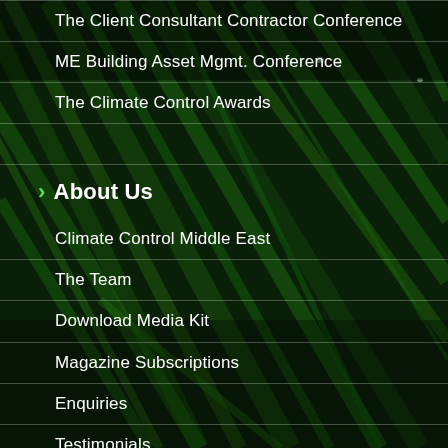[Figure (photo): Dark green close-up photo of wet grass blades with water droplets, serving as page background]
The Client Consultant Contractor Conference
ME Building Asset Mgmt. Conference
The Climate Control Awards
> About Us
Climate Control Middle East
The Team
Download Media Kit
Magazine Subscriptions
Enquiries
Testimonials
> Connect with us